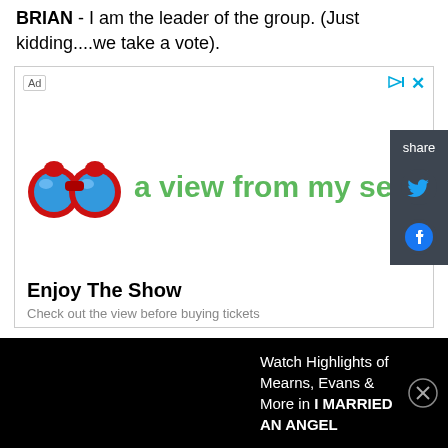BRIAN - I am the leader of the group. (Just kidding....we take a vote).
[Figure (infographic): Advertisement box with 'Ad' label, binoculars logo, green text 'a view from my seat', bold text 'Enjoy The Show', and subtext 'Check out the view before buying tickets']
[Figure (infographic): Share sidebar with Twitter and Facebook icons on dark background]
Watch Highlights of Mearns, Evans & More in I MARRIED AN ANGEL